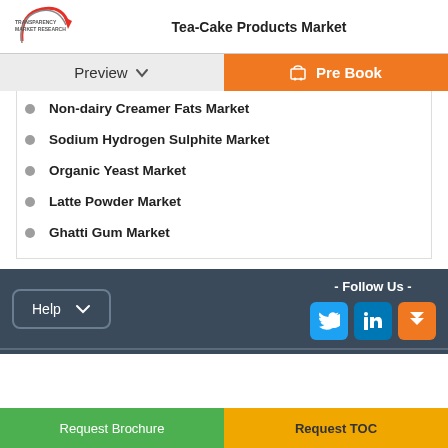Tea-Cake Products Market
Preview
Pre Book
Non-dairy Creamer Fats Market
Sodium Hydrogen Sulphite Market
Organic Yeast Market
Latte Powder Market
Ghatti Gum Market
- Follow Us -
Help
Request Brochure   Request TOC